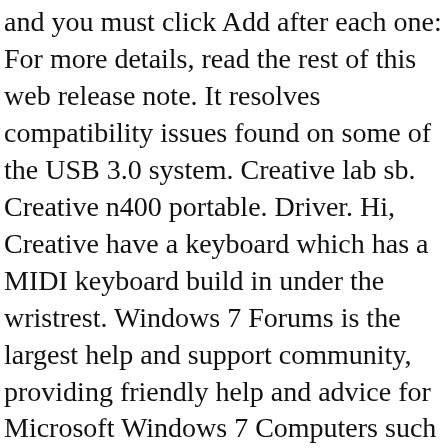and you must click Add after each one: For more details, read the rest of this web release note. It resolves compatibility issues found on some of the USB 3.0 system. Creative lab sb. Creative n400 portable. Driver. Hi, Creative have a keyboard which has a MIDI keyboard build in under the wristrest. Windows 7 Forums is the largest help and support community, providing friendly help and advice for Microsoft Windows 7 Computers such as Dell, HP, Acer, Asus or a custom build. I cannot find the drivers on Creative support I know my speakers are working as I can test them. Install Creative SB Audigy driver for Windows 7 x64, or download DriverPack Solution software for automatic driver installation and update. Original Title: creative webcan ct6840 CT 6840 Preciso drivers creative webcan CT6840 PRO para windows sevem 64b. Driver. Creative VF 0080